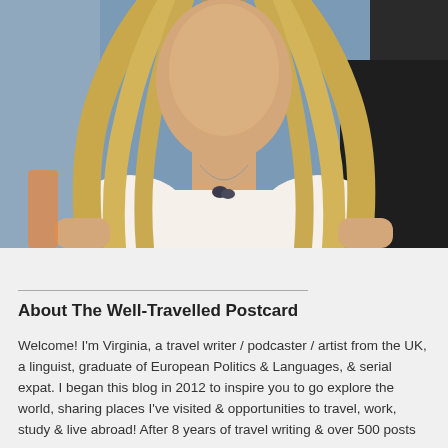[Figure (photo): Portrait photograph of a blonde woman wearing a white t-shirt and a necklace, cropped from the shoulders up, shown from the chest upward with long straight blonde hair.]
About The Well-Travelled Postcard
Welcome! I'm Virginia, a travel writer / podcaster / artist from the UK, a linguist, graduate of European Politics & Languages, & serial expat. I began this blog in 2012 to inspire you to go explore the world, sharing places I've visited & opportunities to travel, work, study & live abroad! After 8 years of travel writing & over 500 posts